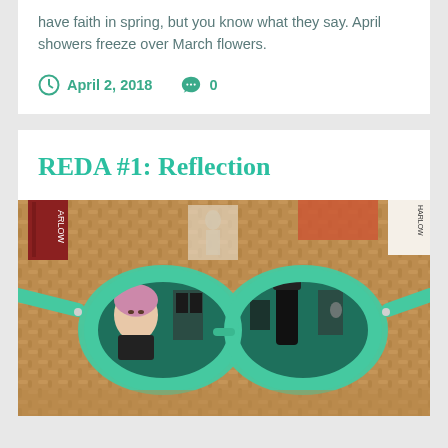have faith in spring, but you know what they say. April showers freeze over March flowers.
April 2, 2018   0
REDA #1: Reflection
[Figure (photo): A pair of teal/mint-colored wayfarer sunglasses resting on a wicker basket. The lenses reflect a woman with pink hair wearing a black top, and a room with clothing/mannequins in the background.]